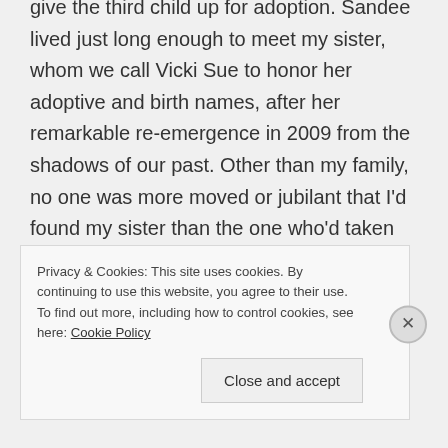give the third child up for adoption. Sandee lived just long enough to meet my sister, whom we call Vicki Sue to honor her adoptive and birth names, after her remarkable re-emergence in 2009 from the shadows of our past. Other than my family, no one was more moved or jubilant that I'd found my sister than the one who'd taken her place all those years ago. Sandee and Vicki Sue met at our family's first Oktoberfest on October 18, 2009, 50 years after we had lost Vicki Sue...
Privacy & Cookies: This site uses cookies. By continuing to use this website, you agree to their use.
To find out more, including how to control cookies, see here: Cookie Policy
Close and accept